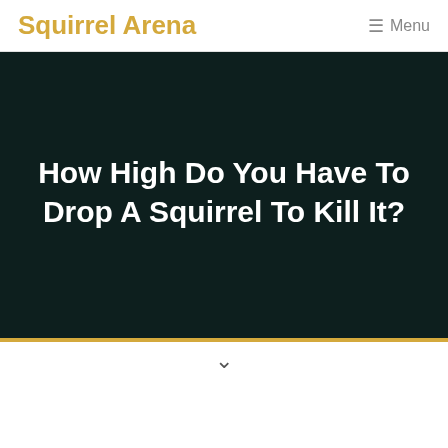Squirrel Arena  Menu
How High Do You Have To Drop A Squirrel To Kill It?